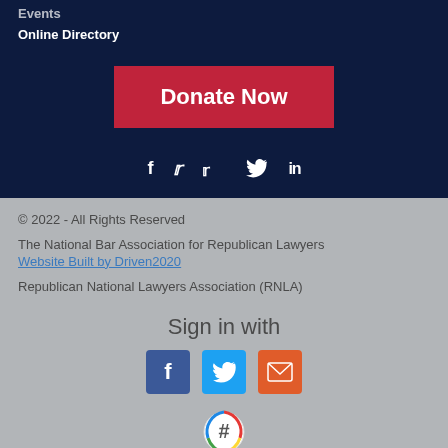Events
Online Directory
[Figure (other): Donate Now button (red rectangle)]
[Figure (other): Social media icons: f (Facebook), bird (Twitter), in (LinkedIn) in white on dark navy background]
© 2022 - All Rights Reserved
The National Bar Association for Republican Lawyers
Website Built by Driven2020
Republican National Lawyers Association (RNLA)
Sign in with
[Figure (other): Sign in icons: Facebook (blue), Twitter (light blue), Email (orange), and a colored hash/pound circle badge]